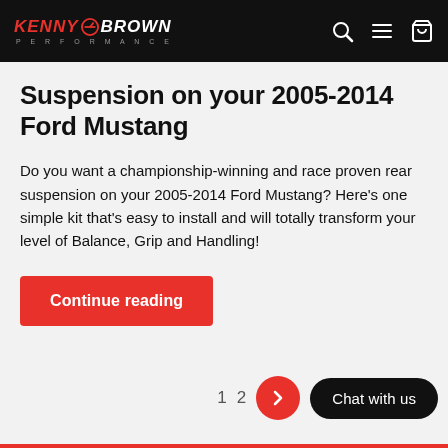Kenny Brown Performance
Suspension on your 2005-2014 Ford Mustang
Do you want a championship-winning and race proven rear suspension on your 2005-2014 Ford Mustang? Here's one simple kit that's easy to install and will totally transform your level of Balance, Grip and Handling!
Continue reading
1  2  >  Chat with us